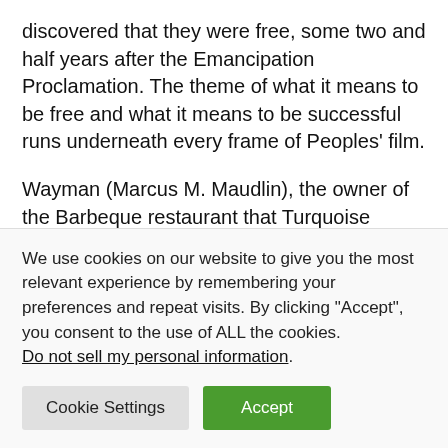discovered that they were free, some two and half years after the Emancipation Proclamation. The theme of what it means to be free and what it means to be successful runs underneath every frame of Peoples' film.
Wayman (Marcus M. Maudlin), the owner of the Barbeque restaurant that Turquoise works at, remarks about what a shame it is that Bacon (Akron Watson) the owner of the mortuary is taking a loan from the bank and relocating. Bacon isn't leaving town but for Wayman and many other Black Americans the bank means white. He owns his
We use cookies on our website to give you the most relevant experience by remembering your preferences and repeat visits. By clicking “Accept”, you consent to the use of ALL the cookies.
Do not sell my personal information.